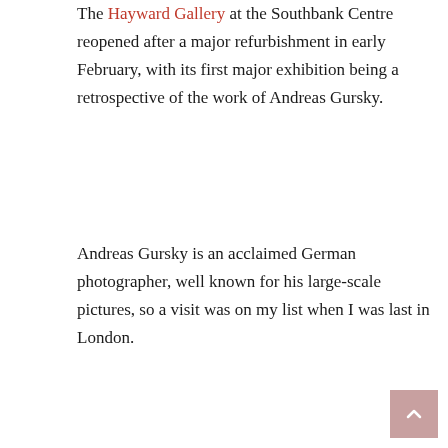The Hayward Gallery at the Southbank Centre reopened after a major refurbishment in early February, with its first major exhibition being a retrospective of the work of Andreas Gursky.
Andreas Gursky is an acclaimed German photographer, well known for his large-scale pictures, so a visit was on my list when I was last in London.
This exhibition also marks the beginning of the Hayward Gallery's 50th anniversary year. The Gallery is nothing much to look at from the outside and the exterior architecture is often described as brutal. However, the two